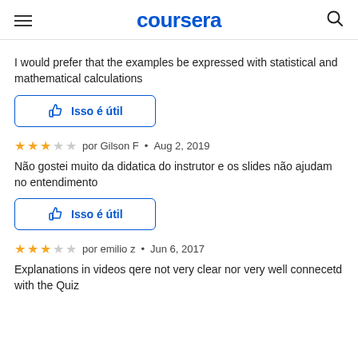coursera
I would prefer that the examples be expressed with statistical and mathematical calculations
[Figure (other): Isso é útil (This is helpful) button with thumbs up icon, blue outlined rounded rectangle button]
por Gilson F • Aug 2, 2019 — 3 out of 5 stars
Não gostei muito da didatica do instrutor e os slides não ajudam no entendimento
[Figure (other): Isso é útil (This is helpful) button with thumbs up icon, blue outlined rounded rectangle button]
por emilio z • Jun 6, 2017 — 3 out of 5 stars
Explanations in videos qere not very clear nor very well connecetd with the Quiz